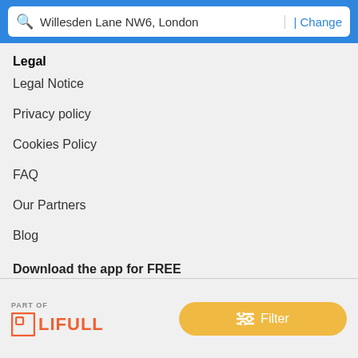[Figure (screenshot): Search bar showing 'Willesden Lane NW6, London' with a '| Change' link on the right, on a blue background]
Legal
Legal Notice
Privacy policy
Cookies Policy
FAQ
Our Partners
Blog
Download the app for FREE
[Figure (screenshot): Download on the App Store button with Apple logo]
PART OF
[Figure (logo): LIFULL logo with orange bracket icon]
[Figure (screenshot): Filter button in yellow/gold color with filter icon]